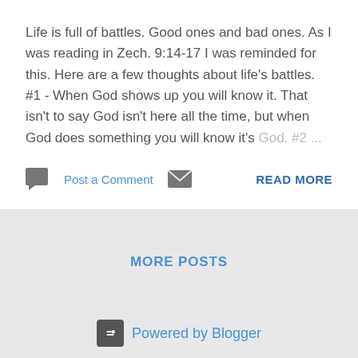Life is full of battles. Good ones and bad ones. As I was reading in Zech. 9:14-17 I was reminded for this. Here are a few thoughts about life's battles. #1 - When God shows up you will know it. That isn't to say God isn't here all the time, but when God does something you will know it's God.  #2  ...
Post a Comment   READ MORE
MORE POSTS
Powered by Blogger
Theme images by Michael Elkan
Russ Jones © 2017